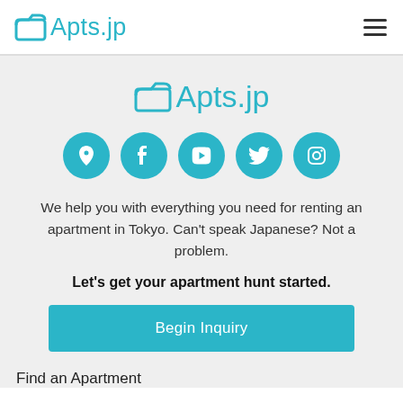Apts.jp
[Figure (logo): Apts.jp logo centered with document icon]
[Figure (infographic): Five teal circular social/link icons: location pin, Facebook, YouTube, Twitter, Instagram]
We help you with everything you need for renting an apartment in Tokyo. Can't speak Japanese? Not a problem.
Let's get your apartment hunt started.
Begin Inquiry
Find an Apartment